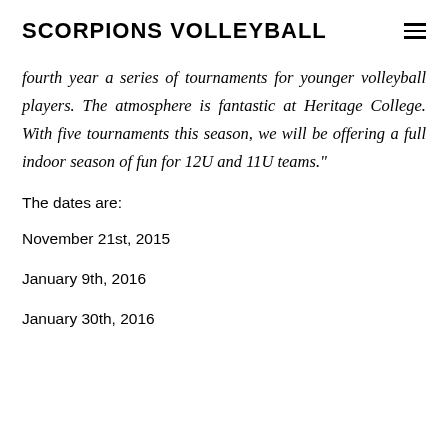SCORPIONS VOLLEYBALL
fourth year a series of tournaments for younger volleyball players. The atmosphere is fantastic at Heritage College. With five tournaments this season, we will be offering a full indoor season of fun for 12U and 11U teams."
The dates are:
November 21st, 2015
January 9th, 2016
January 30th, 2016